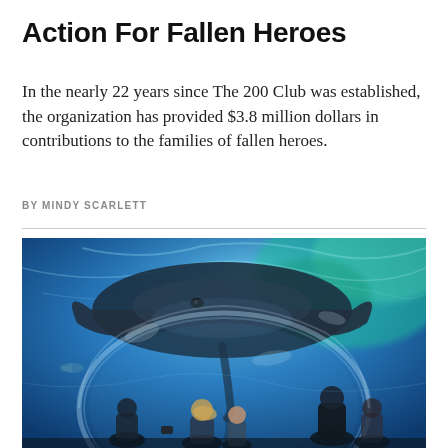Action For Fallen Heroes
In the nearly 22 years since The 200 Club was established, the organization has provided $3.8 million dollars in contributions to the families of fallen heroes.
BY MINDY SCARLETT
[Figure (photo): Underwater aquarium tunnel photo showing a large stingray swimming overhead through a curved glass tunnel, with visitors including children and adults looking up in wonder, illuminated by blue-teal water light.]